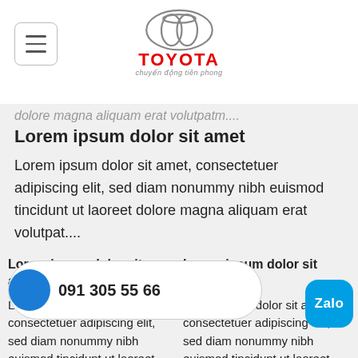[Figure (logo): Toyota logo with oval symbol, TOYOTA text in red, and 'chuyển động tiên phong' tagline]
dolore magna aliquam erat volutpatm....
Lorem ipsum dolor sit amet
Lorem ipsum dolor sit amet, consectetuer adipiscing elit, sed diam nonummy nibh euismod tincidunt ut laoreet dolore magna aliquam erat volutpat....
Lorem ipsum dolor sit amet
Lorem ipsum dolor sit amet
Lorem ipsum dolor sit amet, consectetuer adipiscing elit, sed diam nonummy nibh euismod tincidunt ut laoreet dolore magna aliquam erat volutpat
Lorem ipsum dolor sit amet, consectetuer adipiscing elit, sed diam nonummy nibh euismod tincidunt ut laoreet dolore magna aliquam erat volutpat